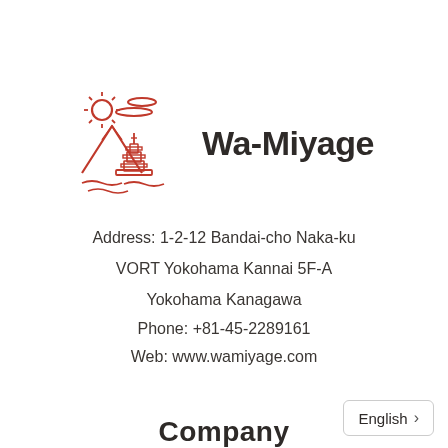[Figure (logo): Wa-Miyage logo: red line-art illustration of a Japanese pagoda with Mount Fuji, sun, clouds, and water waves, next to bold dark text 'Wa-Miyage']
Address: 1-2-12 Bandai-cho Naka-ku
VORT Yokohama Kannai 5F-A
Yokohama Kanagawa
Phone: +81-45-2289161
Web: www.wamiyage.com
Company
English >